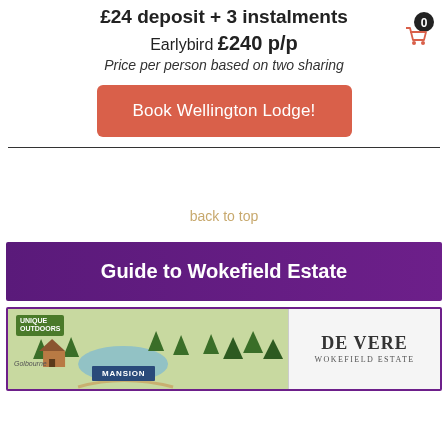£24 deposit + 3 instalments
Earlybird £240 p/p
Price per person based on two sharing
Book Wellington Lodge!
back to top
Guide to Wokefield Estate
[Figure (map): Illustrated map of Wokefield Estate showing grounds, lake, mansion, trees, and lodges. Unique Outdoors logo top left. DE VERE WOKEFIELD ESTATE logo top right. MANSION label visible at bottom centre.]